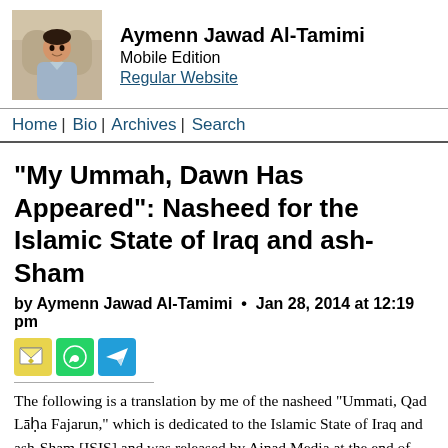Aymenn Jawad Al-Tamimi — Mobile Edition — Regular Website
Home | Bio | Archives | Search
"My Ummah, Dawn Has Appeared": Nasheed for the Islamic State of Iraq and ash-Sham
by Aymenn Jawad Al-Tamimi • Jan 28, 2014 at 12:19 pm
[Figure (infographic): Three share icons: email (yellow), WhatsApp (green), Telegram (blue)]
The following is a translation by me of the nasheed "Ummati, Qad Lāḥa Fajarun," which is dedicated to the Islamic State of Iraq and ash-Sham [ISIS] and was released by Ajnad Media at the end of last year. Listen to it here. It has become a quasi-official anthem for ISIS, as it can be heard in the background of this "media patrol" in the city of Raqqa and its vicinity ("The Islamic Province of Raqqa"), which ISIS recently conquered in its entirety (Update